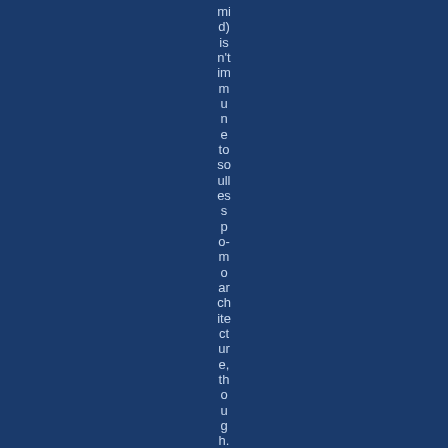mid) isn't immune to soulless po-mo architecture, though.